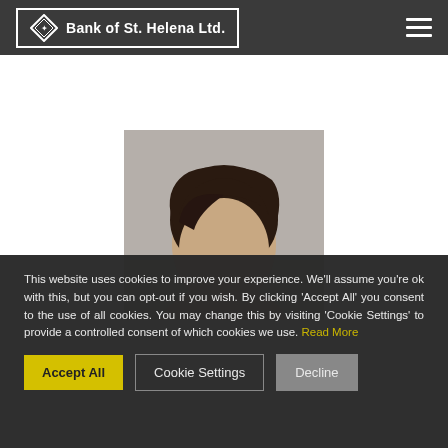Bank of St. Helena Ltd.
[Figure (photo): Portrait photo of a woman with dark hair against a grey background, partially visible, cropped at the shoulders.]
This website uses cookies to improve your experience. We'll assume you're ok with this, but you can opt-out if you wish. By clicking 'Accept All' you consent to the use of all cookies. You may change this by visiting 'Cookie Settings' to provide a controlled consent of which cookies we use. Read More
Accept All
Cookie Settings
Decline